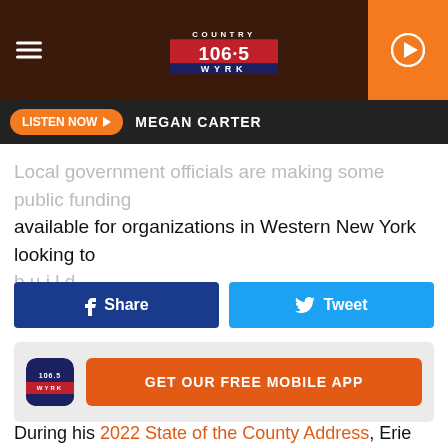COUNTRY 106.5 WYRK
LISTEN NOW  MEGAN CARTER
Local government officials are making some public funding available for organizations in Western New York looking to build...
Share   Tweet
[Figure (logo): GET OUR FREE MOBILE APP banner with 106.5 WYRK app icon]
During his 2022 State of the County Address, Erie County Executive Mark Poloncarz announced he was increasing support to arts and cultural organizations in Erie County.